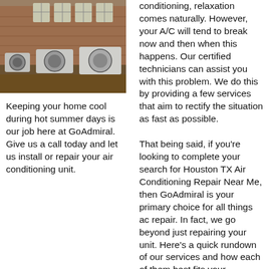[Figure (photo): Outdoor HVAC/air conditioning units beside a brick building with windows.]
Keeping your home cool during hot summer days is our job here at GoAdmiral. Give us a call today and let us install or repair your air conditioning unit.
conditioning, relaxation comes naturally. However, your A/C will tend to break now and then when this happens. Our certified technicians can assist you with this problem. We do this by providing a few services that aim to rectify the situation as fast as possible.

That being said, if you're looking to complete your search for Houston TX Air Conditioning Repair Near Me, then GoAdmiral is your primary choice for all things ac repair. In fact, we go beyond just repairing your unit. Here's a quick rundown of our services and how each of them best fits your situation.